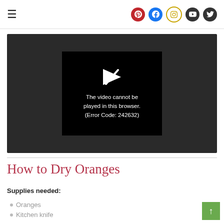Navigation header with hamburger menu and social icons (Pinterest, Facebook, Instagram, YouTube, Twitter)
[Figure (screenshot): Video player showing error: 'The video cannot be played in this browser. (Error Code: 242632)']
How to Dry Oranges
Supplies needed:
Oranges
Kitchen knife